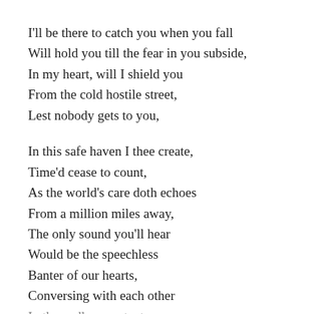I'll be there to catch you when you fall
Will hold you till the fear in you subside,
In my heart, will I shield you
From the cold hostile street,
Lest nobody gets to you,

In this safe haven I thee create,
Time'd cease to count,
As the world's care doth echoes
From a million miles away,
The only sound you'll hear
Would be the speechless
Banter of our hearts,
Conversing with each other
In the endless contents